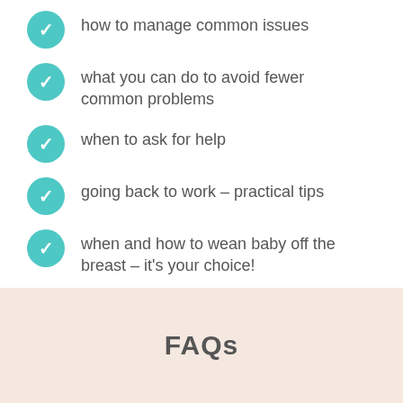how to manage common issues
what you can do to avoid fewer common problems
when to ask for help
going back to work – practical tips
when and how to wean baby off the breast – it's your choice!
FAQs